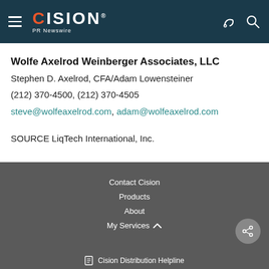CISION PR Newswire
Wolfe Axelrod Weinberger Associates, LLC
Stephen D. Axelrod, CFA/Adam Lowensteiner
(212) 370-4500, (212) 370-4505
steve@wolfeaxelrod.com, adam@wolfeaxelrod.com
SOURCE LiqTech International, Inc.
Contact Cision
Products
About
My Services
Cision Distribution Helpline